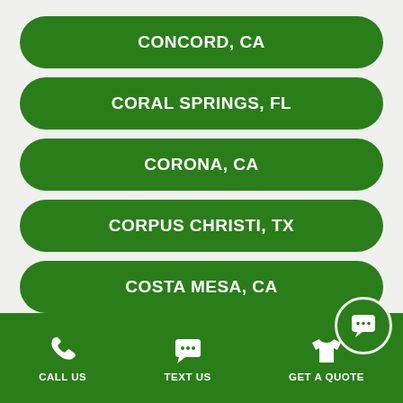CONCORD, CA
CORAL SPRINGS, FL
CORONA, CA
CORPUS CHRISTI, TX
COSTA MESA, CA
COTTLEVILLE, MO
CALL US   TEXT US   GET A QUOTE